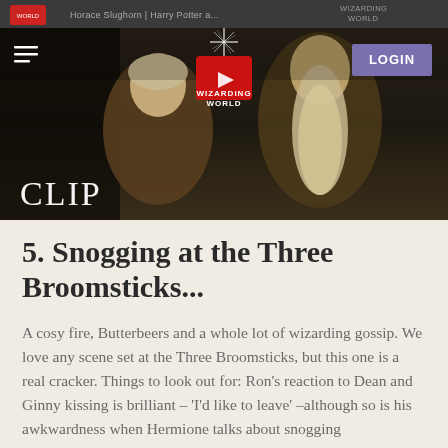[Figure (screenshot): Screenshot of Wizarding World website showing a video clip thumbnail with two wizard figures (Horace Slughorn and Dumbledore), navigation bar with hamburger menu, Wizarding World logo, LOGIN button, and CLIP label overlay]
5. Snogging at the Three Broomsticks...
A cosy fire, Butterbeers and a whole lot of wizarding gossip. We love any scene set at the Three Broomsticks, but this one is a real cracker. Things to look out for: Ron's reaction to Dean and Ginny kissing is brilliant – 'I'd like to leave' –although so is his awkwardness when Hermione talks about snogging